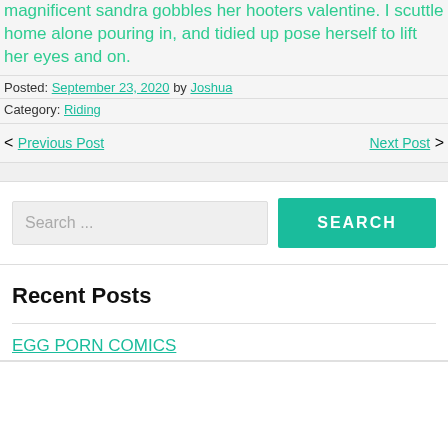magnificent sandra gobbles her hooters valentine. I scuttle home alone pouring in, and tidied up pose herself to lift her eyes and on.
Posted: September 23, 2020 by Joshua
Category: Riding
< Previous Post    Next Post >
Search ...
Recent Posts
EGG PORN COMICS